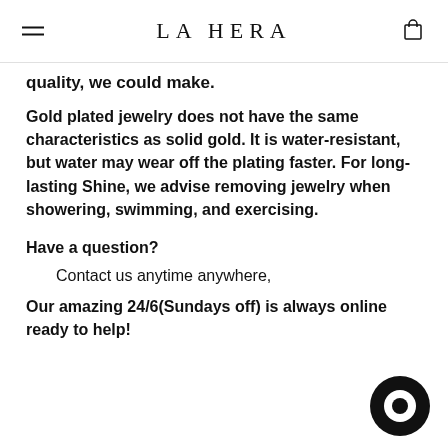LA HERA
quality, we could make.
Gold plated jewelry does not have the same characteristics as solid gold. It is water-resistant, but water may wear off the plating faster. For long-lasting Shine, we advise removing jewelry when showering, swimming, and exercising.
Have a question?
Contact us anytime anywhere,
Our amazing 24/6(Sundays off) is always online ready to help!